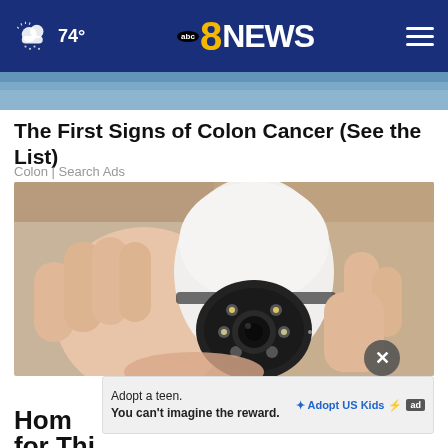74° | abc 8 NEWS
[Figure (photo): Partial image at top of page, blue-toned background, cropped]
The First Signs of Colon Cancer (See the List)
Colon | Search Ads
[Figure (photo): A hand holding a white dome-shaped security camera with LED lights and a lens, placed on a wooden surface]
Adopt a teen. You can't imagine the reward. Adopt US Kids [ad]
Hom... ...s for Thi...